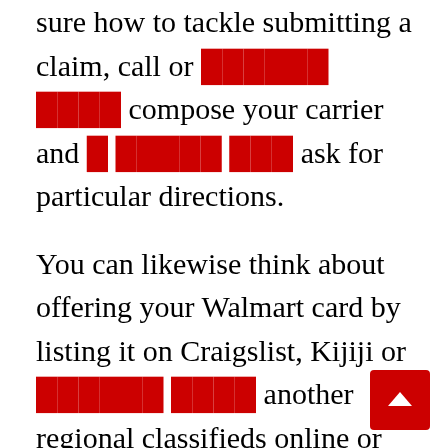sure how to tackle submitting a claim, call or ██████ ████ compose your carrier and █ █████ ███ ask for particular directions.

You can likewise think about offering your Walmart card by listing it on Craigslist, Kijiji or ██████ ████ another regional classifieds online or in a newspaper. Individuals who prefer to offer their card in your area utilize this alternative, nevertheless it takes a significant amount of work and time for the card to be offered. You need to note and ad, if it remains in a newspaper there may be a little cost. Then you wait for an action, if you